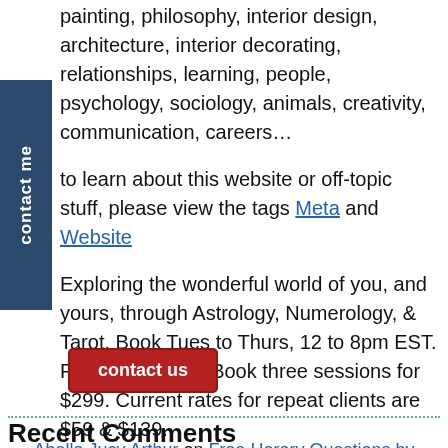painting, philosophy, interior design, architecture, interior decorating, relationships, learning, people, psychology, sociology, animals, creativity, communication, careers…
to learn about this website or off-topic stuff, please view the tags Meta and Website
Exploring the wonderful world of you, and yours, through Astrology, Numerology, & Tarot. Book Tues to Thurs, 12 to 8pm EST. First time client? Book three sessions for $299. Current rates for repeat clients are $59 & $139.
[Figure (other): Red rounded-rectangle button labeled 'contact us']
Recent Comments
Abella Jucy Arthur on Free Horary Questions by